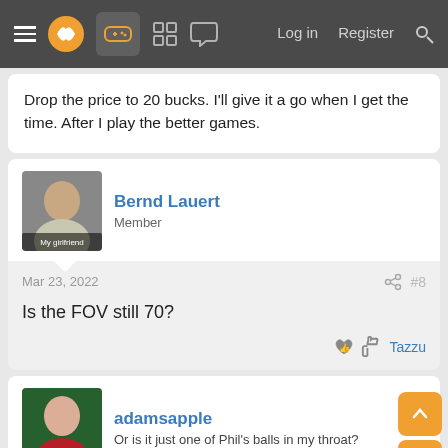≡ [logo] [game icon] [grid icon] [chat icon]   Log in   Register   🔍
Drop the price to 20 bucks. I'll give it a go when I get the time. After I play the better games.
Bernd Lauert
Member
Mar 23, 2022   #8
Is the FOV still 70?
👍 Tazzu
adamsapple
Or is it just one of Phil's balls in my throat?